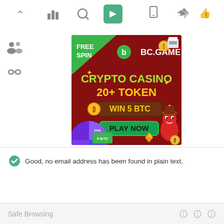[Figure (screenshot): Top toolbar with icons: chevron-up, bar-chart, search, cursor/pointer (active green button), mobile, send/arrow, thumbs-up]
[Figure (advertisement): BC.GAME crypto casino advertisement. Dark red background. Top-left green triangle with 'FREE SPIN'. BC.GAME logo with green 'b' icon. Text: 'CRYPTO CASINO 20+ TOKEN' in yellow/green. Brown banner: 'WIN 5 BTC' in yellow. Green button: 'PLAY NOW'. Spin wheel bottom-left showing '2536' and '5 BTC'. Cartoon character bottom-right. Gold coins and gems decorating.]
[Figure (screenshot): Left sidebar with two icons: group/users icon and chain/link icon]
Good, no email address has been found in plain text.
Safe Browsing